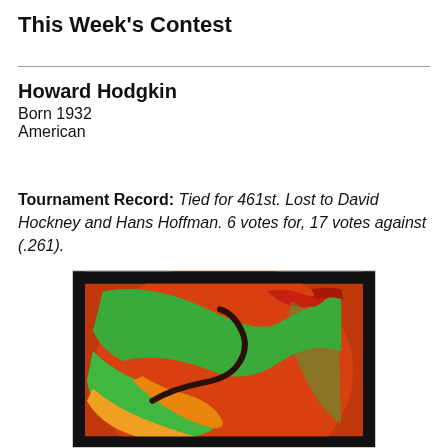This Week's Contest
Howard Hodgkin
Born 1932
American
Tournament Record: Tied for 461st. Lost to David Hockney and Hans Hoffman. 6 votes for, 17 votes against (.261).
[Figure (photo): A colorful abstract painting by Howard Hodgkin featuring bold swirling brushstrokes in green, orange, red, and yellow tones set against a dark/black frame border.]